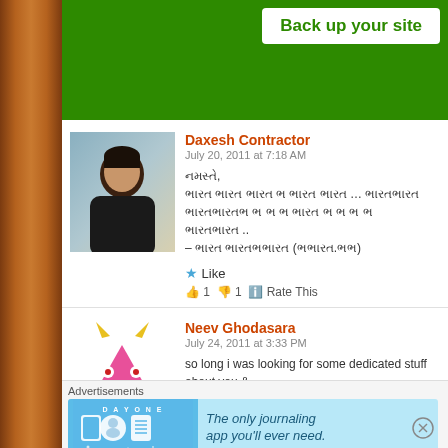[Figure (screenshot): Green banner with 'Back up your site' button]
Daxesh Contractor
July 20, 2011 at 7:18 AM
[Gujarati script text]
– [Gujarati text] ([Gujarati text])
★ Like
👍 1 👎 1 ℹ Rate This
Neev Ghodasara
July 24, 2011 at 3:33 PM
so long i was looking for some dedicated stuff about you & "spectrometer"
Now i will be one of your million fans & regular visitors of t
Thank you sir.
Advertisements
[Figure (screenshot): Day One journaling app advertisement: 'The only journaling app you'll ever need.']